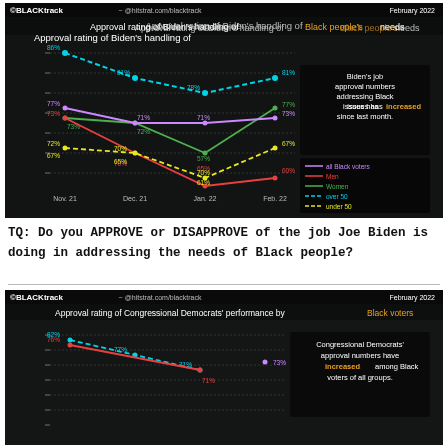[Figure (line-chart): Approval rating of Biden's handling of Black people's needs]
TQ: Do you APPROVE or DISAPPROVE of the job Joe Biden is doing in addressing the needs of Black people?
[Figure (line-chart): Approval rating of Congressional Democrats' performance by Black voters]